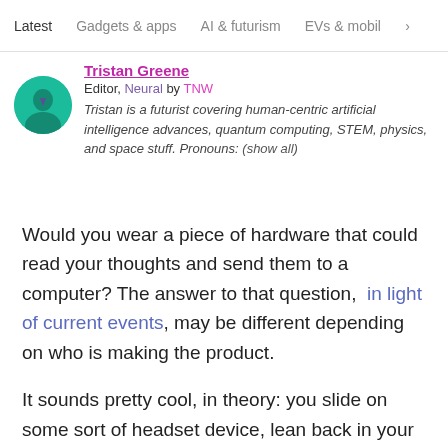Latest   Gadgets & apps   AI & futurism   EVs & mobil  >
Tristan Greene
Editor, Neural by TNW
Tristan is a futurist covering human-centric artificial intelligence advances, quantum computing, STEM, physics, and space stuff. Pronouns: (show all)
Would you wear a piece of hardware that could read your thoughts and send them to a computer? The answer to that question, in light of current events, may be different depending on who is making the product.
It sounds pretty cool, in theory: you slide on some sort of headset device, lean back in your favorite recliner, think about sending a Facebook message,